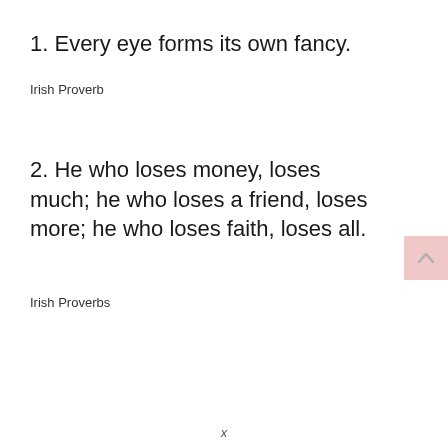1. Every eye forms its own fancy.
Irish Proverb
2. He who loses money, loses much; he who loses a friend, loses more; he who loses faith, loses all.
Irish Proverbs
x